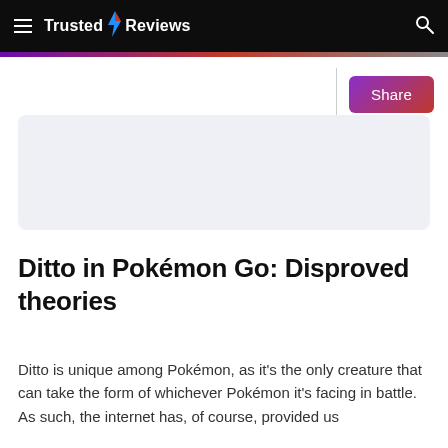≡ Trusted Reviews 🔍
[Figure (screenshot): Light blue/gray advertisement placeholder rectangle]
Ditto in Pokémon Go: Disproved theories
Ditto is unique among Pokémon, as it's the only creature that can take the form of whichever Pokémon it's facing in battle. As such, the internet has, of course, provided us